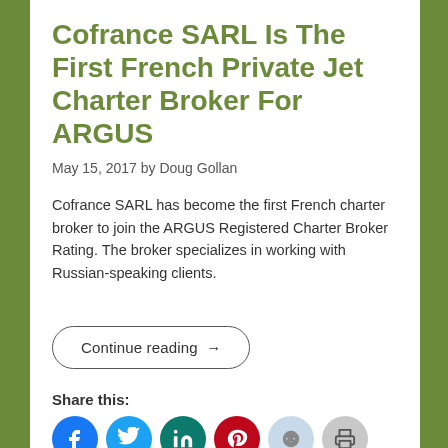Cofrance SARL Is The First French Private Jet Charter Broker For ARGUS
May 15, 2017 by Doug Gollan
Cofrance SARL has become the first French charter broker to join the ARGUS Registered Charter Broker Rating. The broker specializes in working with Russian-speaking clients.
Continue reading →
Share this:
[Figure (infographic): Six social share icon circles: Facebook (blue), Twitter (teal), LinkedIn (dark teal), Pinterest (red), Reddit (light blue), Print (gray)]